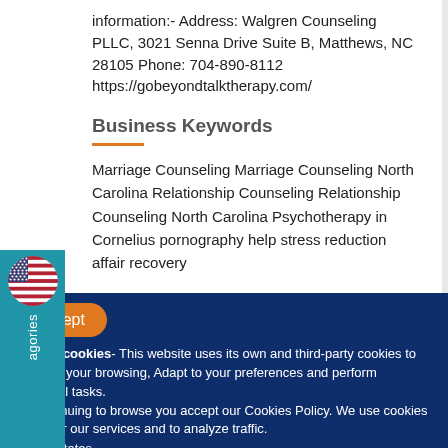information:- Address: Walgren Counseling PLLC, 3021 Senna Drive Suite B, Matthews, NC 28105 Phone: 704-890-8112 https://gobeyondtalktherapy.com/
Business Keywords
Marriage Counseling Marriage Counseling North Carolina Relationship Counseling Relationship Counseling North Carolina Psychotherapy in Cornelius pornography help stress reduction affair recovery
Accept
We use cookies- This website uses its own and third-party cookies to optimize your browsing, Adapt to your preferences and perform analytical tasks.
By continuing to browse you accept our Cookies Policy. We use cookies to deliver our services and to analyze traffic.
United States